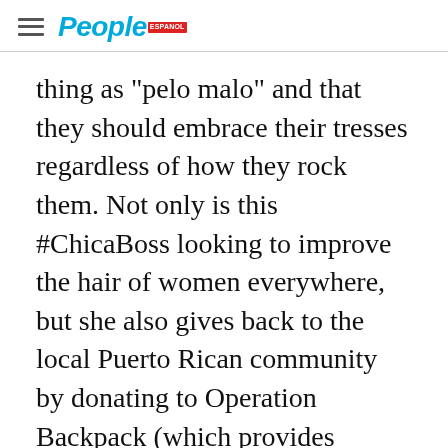People
thing as "pelo malo" and that they should embrace their tresses regardless of how they rock them. Not only is this #ChicaBoss looking to improve the hair of women everywhere, but she also gives back to the local Puerto Rican community by donating to Operation Backpack (which provides school supplies to disadvantaged children). Items range from $15 to $30. www.micmasremix.com
ADVERTISEMENT